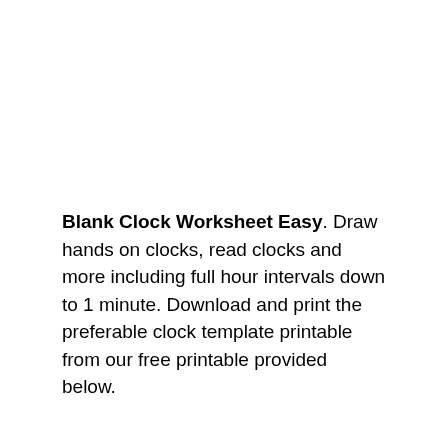Blank Clock Worksheet Easy. Draw hands on clocks, read clocks and more including full hour intervals down to 1 minute. Download and print the preferable clock template printable from our free printable provided below.